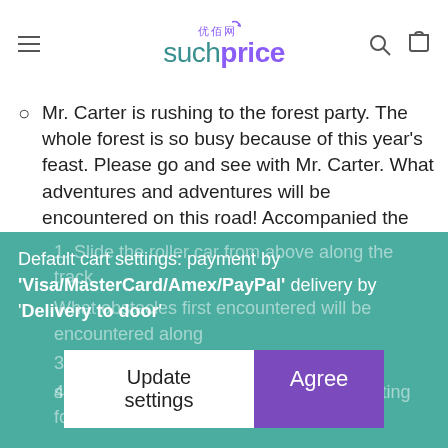suchprice
Mr. Carter is rushing to the forest party. The whole forest is so busy because of this year's feast. Please go and see with Mr. Carter. What adventures and adventures will be encountered on this road! Accompanied the baby to observe the design of small animals and obstacles along the way, so that the baby seems to be in the forest, a journey full of sound and thrill.
How to play:
1. Slide the roller car from above along the track
2. What obstacles will be encountered along
3. ... that it makes a different sound. Did you find out?
4. The ... along the way, waiting for you to discover!
Default cart settings: payment by 'Visa/MasterCard/Amex/PayPal' delivery by 'Delivery to door'